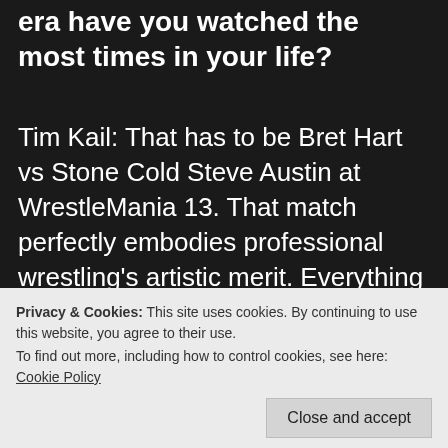era have you watched the most times in your life?
Tim Kail: That has to be Bret Hart vs Stone Cold Steve Austin at WrestleMania 13. That match perfectly embodies professional wrestling's artistic merit. Everything about it, from the commentary to the choices Bret and Austin make, even little details like the way Austin makes a real-life snap-decision to fall... tell the story of a double-turn...that's why I
Privacy & Cookies: This site uses cookies. By continuing to use this website, you agree to their use.
To find out more, including how to control cookies, see here: Cookie Policy